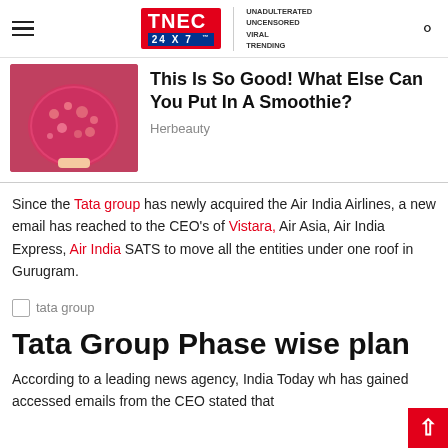TNEC 24X7 | UNADULTERATED UNCENSORED VIRAL TRENDING
[Figure (photo): Red berry smoothie in a glass]
This Is So Good! What Else Can You Put In A Smoothie?
Herbeauty
Since the Tata group has newly acquired the Air India Airlines, a new email has reached to the CEO's of Vistara, Air Asia, Air India Express, Air India SATS to move all the entities under one roof in Gurugram.
[Figure (photo): tata group image placeholder]
Tata Group Phase wise plan
According to a leading news agency, India Today wh has gained accessed emails from the CEO stated that